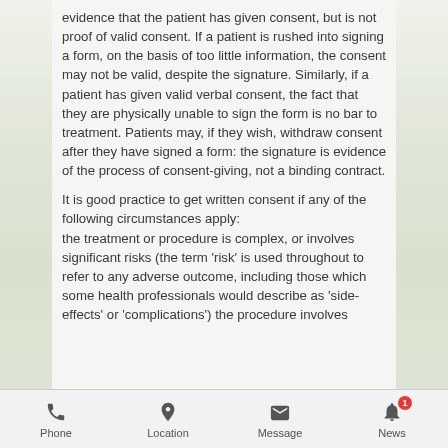evidence that the patient has given consent, but is not proof of valid consent. If a patient is rushed into signing a form, on the basis of too little information, the consent may not be valid, despite the signature. Similarly, if a patient has given valid verbal consent, the fact that they are physically unable to sign the form is no bar to treatment. Patients may, if they wish, withdraw consent after they have signed a form: the signature is evidence of the process of consent-giving, not a binding contract.
It is good practice to get written consent if any of the following circumstances apply: the treatment or procedure is complex, or involves significant risks (the term 'risk' is used throughout to refer to any adverse outcome, including those which some health professionals would describe as 'side-effects' or 'complications') the procedure involves
Phone | Location | Message | News